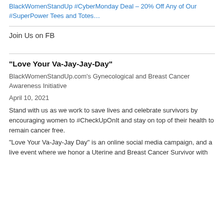BlackWomenStandUp #CyberMonday Deal – 20% Off Any of Our #SuperPower Tees and Totes…
Join Us on FB
“Love Your Va-Jay-Jay-Day”
BlackWomenStandUp.com's Gynecological and Breast Cancer Awareness Initiative
April 10, 2021
Stand with us as we work to save lives and celebrate survivors by encouraging women to #CheckUpOnIt and stay on top of their health to remain cancer free.
"Love Your Va-Jay-Jay Day" is an online social media campaign, and a live event where we honor a Uterine and Breast Cancer Survivor with